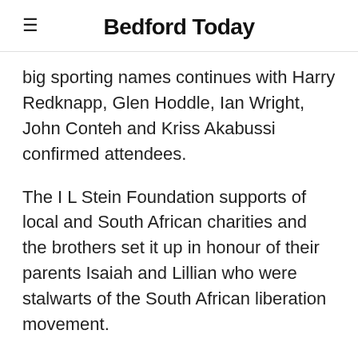Bedford Today
big sporting names continues with Harry Redknapp, Glen Hoddle, Ian Wright, John Conteh and Kriss Akabussi confirmed attendees.
The I L Stein Foundation supports of local and South African charities and the brothers set it up in honour of their parents Isaiah and Lillian who were stalwarts of the South African liberation movement.